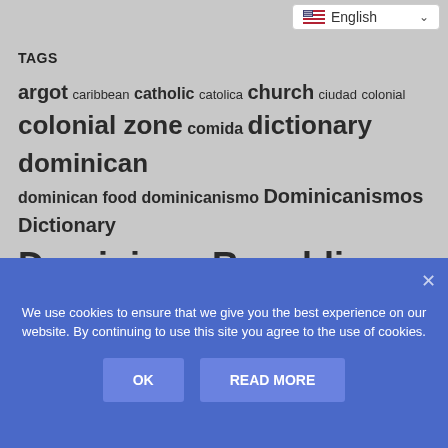English (language selector)
TAGS
argot caribbean catholic catolica church ciudad colonial colonial zone comida dictionary dominican dominican food dominicanismo Dominicanismos Dictionary Dominican Republic dominicans eat english Folclore Folklore food history hotel iglesia Language legend Legends Leyendas Mitos monument Myths park religion republica dominicana rio ozama santo domingo slang spanish speak street vendor Taino translation unesco
We use cookies to ensure that we give you the best experience on our website. By continuing to use this site you agree to the use of cookies.